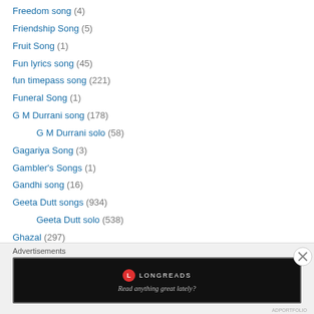Freedom song (4)
Friendship Song (5)
Fruit Song (1)
Fun lyrics song (45)
fun timepass song (221)
Funeral Song (1)
G M Durrani song (178)
G M Durrani solo (58)
Gagariya Song (3)
Gambler's Songs (1)
Gandhi song (16)
Geeta Dutt songs (934)
Geeta Dutt solo (538)
Ghazal (297)
Hum Radeef Ghazals (1)
Ghazal Presented as a Mujra (2)
[Figure (screenshot): Longreads advertisement banner: dark background with Longreads logo and tagline 'Read anything great lately?']